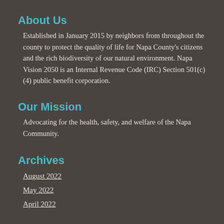About Us
Established in January 2015 by neighbors from throughout the county to protect the quality of life for Napa County's citizens and the rich biodiversity of our natural environment. Napa Vision 2050 is an Internal Revenue Code (IRC) Section 501(c)(4) public benefit corporation.
Our Mission
Advocating for the health, safety, and welfare of the Napa Community.
Archives
August 2022
May 2022
April 2022